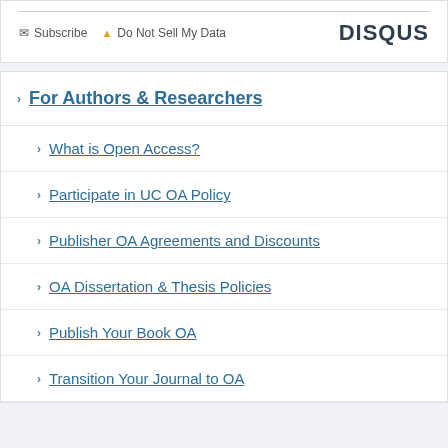Subscribe   Do Not Sell My Data   DISQUS
For Authors & Researchers
What is Open Access?
Participate in UC OA Policy
Publisher OA Agreements and Discounts
OA Dissertation & Thesis Policies
Publish Your Book OA
Transition Your Journal to OA